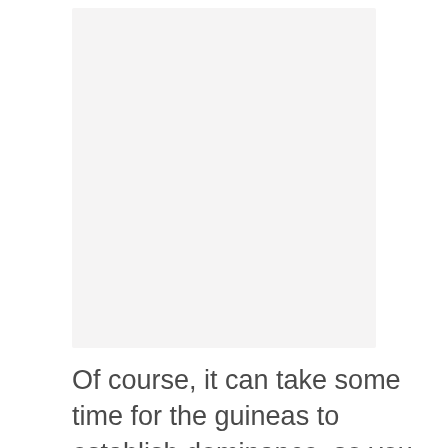[Figure (other): A large light gray rectangular image placeholder occupying the upper portion of the page.]
Of course, it can take some time for the guineas to establish dominance, so you should be mindful of this and